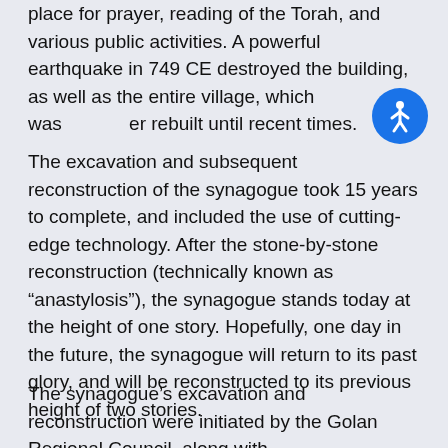place for prayer, reading of the Torah, and various public activities. A powerful earthquake in 749 CE destroyed the building, as well as the entire village, which was never rebuilt until recent times.
The excavation and subsequent reconstruction of the synagogue took 15 years to complete, and included the use of cutting-edge technology. After the stone-by-stone reconstruction (technically known as “anastylosis”), the synagogue stands today at the height of one story. Hopefully, one day in the future, the synagogue will return to its past glory, and will be reconstructed to its previous height of two stories.
The synagogue’s excavation and reconstruction were initiated by the Golan Regional Council, along with